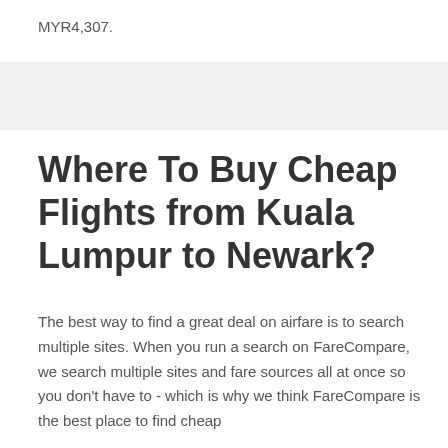MYR4,307.
Where To Buy Cheap Flights from Kuala Lumpur to Newark?
The best way to find a great deal on airfare is to search multiple sites. When you run a search on FareCompare, we search multiple sites and fare sources all at once so you don't have to - which is why we think FareCompare is the best place to find cheap